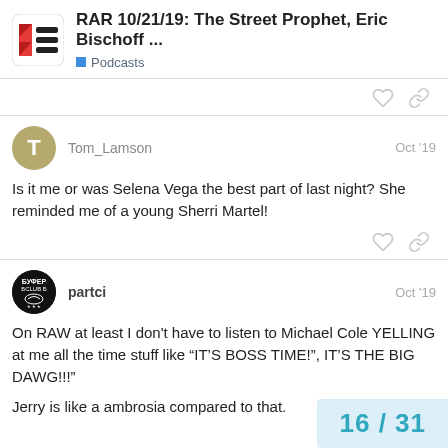RAR 10/21/19: The Street Prophet, Eric Bischoff ... | Podcasts
Is it me or was Selena Vega the best part of last night? She reminded me of a young Sherri Martel!
Tom_Lamson  Oct '19
partci  Oct '19
On RAW at least I don't have to listen to Michael Cole YELLING at me all the time stuff like “IT’S BOSS TIME!”, IT’S THE BIG DAWG!!!”
Jerry is like a ambrosia compared to that.
16 / 31